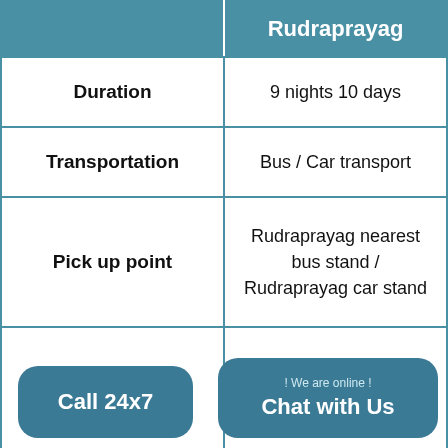|  | Rudraprayag |
| --- | --- |
| Duration | 9 nights 10 days |
| Transportation | Bus / Car transport |
| Pick up point | Rudraprayag nearest bus stand / Rudraprayag car stand |
| Dropping | Rudraprayag nearest |
Call 24x7
! We are online ! Chat with Us